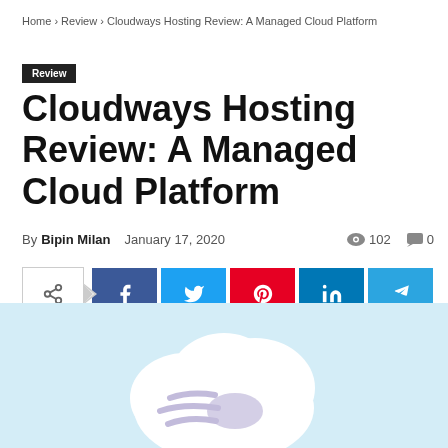Home › Review › Cloudways Hosting Review: A Managed Cloud Platform
Review
Cloudways Hosting Review: A Managed Cloud Platform
By Bipin Milan  January 17, 2020  👁 102  💬 0
[Figure (infographic): Social share bar with share icon toggle button and five social media buttons: Facebook (blue), Twitter (light blue), Pinterest (red), LinkedIn (dark blue), Telegram (blue)]
[Figure (illustration): Light blue background with a white cloud illustration containing a speed/wind icon (purple/lavender arrows) suggesting fast cloud hosting]